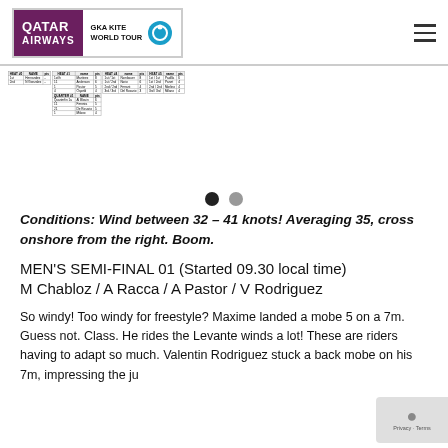[Figure (logo): Qatar Airways GKA Kite World Tour logo in header]
[Figure (table-as-image): Score tables for competition results showing multiple small result tables]
Conditions: Wind between 32 – 41 knots! Averaging 35, cross onshore from the right. Boom.
MEN'S SEMI-FINAL 01 (Started 09.30 local time) M Chabloz / A Racca / A Pastor / V Rodriguez
So windy! Too windy for freestyle? Maxime landed a mobe 5 on a 7m. Guess not. Class. He rides the Levante winds a lot! These are riders having to adapt so much. Valentin Rodriguez stuck a back mobe on his 7m, impressing the judges.